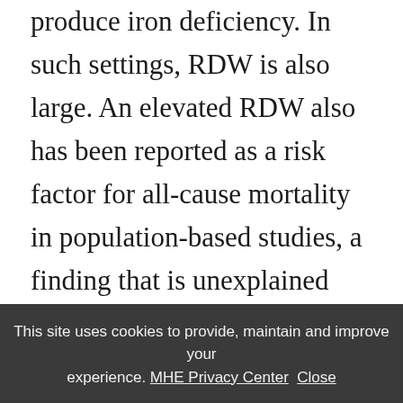produce iron deficiency. In such settings, RDW is also large. An elevated RDW also has been reported as a risk factor for all-cause mortality in population-based studies, a finding that is unexplained currently.
After red cell size is assessed, one examines the hemoglobin content of the cells. They are either normal in color (normochromic) or pale in color (hypochromic). They are never “hyperchromic.” If more than the normal amount of hemoglobin is made, the cells get larger—they do not become darker. In
This site uses cookies to provide, maintain and improve your experience. MHE Privacy Center Close